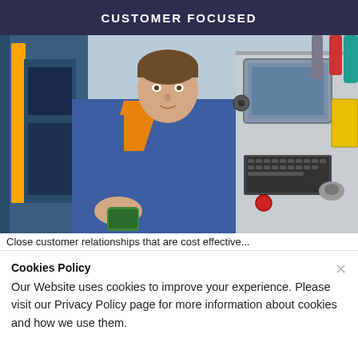CUSTOMER FOCUSED
[Figure (photo): A male technician or engineer wearing a blue and orange work uniform, holding a green handheld device, standing in front of an industrial CNC machine with a control panel and monitor.]
Close customer relationships that are cost effective...
Cookies Policy
Our Website uses cookies to improve your experience. Please visit our Privacy Policy page for more information about cookies and how we use them.